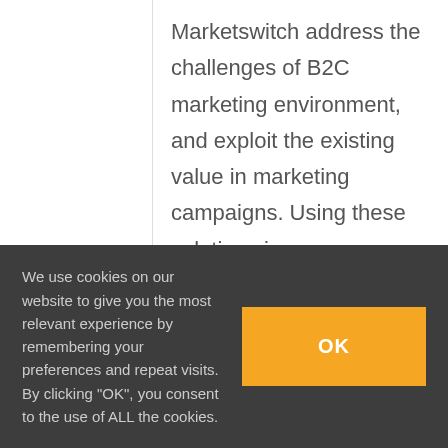Marketswitch address the challenges of B2C marketing environment, and exploit the existing value in marketing campaigns. Using these solutions issuers can achieve 10-30% increase in campaign profitability.
This report is 23 pages long and contains 10 exhibits.
Members of Mercator Advisory
We use cookies on our website to give you the most relevant experience by remembering your preferences and repeat visits. By clicking "OK", you consent to the use of ALL the cookies.